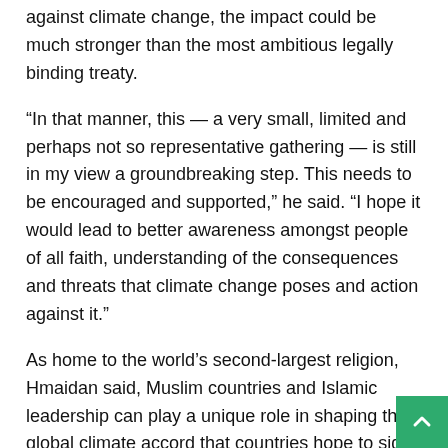against climate change, the impact could be much stronger than the most ambitious legally binding treaty.
“In that manner, this — a very small, limited and perhaps not so representative gathering — is still in my view a groundbreaking step. This needs to be encouraged and supported,” he said. “I hope it would lead to better awareness amongst people of all faith, understanding of the consequences and threats that climate change poses and action against it.”
As home to the world’s second-largest religion, Hmaidan said, Muslim countries and Islamic leadership can play a unique role in shaping the global climate accord that countries hope to sign in Paris in December. Currently, he said, climate change is only sporadically raised in Islamic discussions, usually as part of a particular initiative. He called the symposium and declaration a “first step” in substantively engaging communities during Fri…